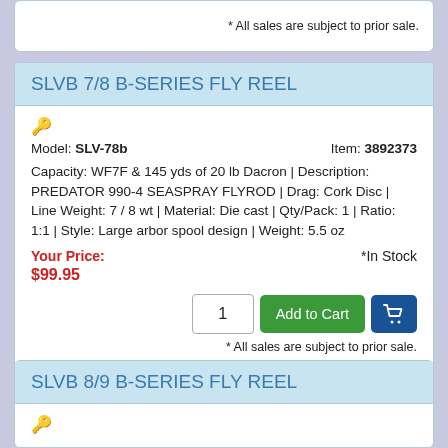* All sales are subject to prior sale.
SLVB 7/8 B-SERIES FLY REEL
Model: SLV-78b   Item: 3892373
Capacity: WF7F & 145 yds of 20 lb Dacron | Description: PREDATOR 990-4 SEASPRAY FLYROD | Drag: Cork Disc | Line Weight: 7 / 8 wt | Material: Die cast | Qty/Pack: 1 | Ratio: 1:1 | Style: Large arbor spool design | Weight: 5.5 oz
Your Price:   *In Stock
$99.95
* All sales are subject to prior sale.
SLVB 8/9 B-SERIES FLY REEL